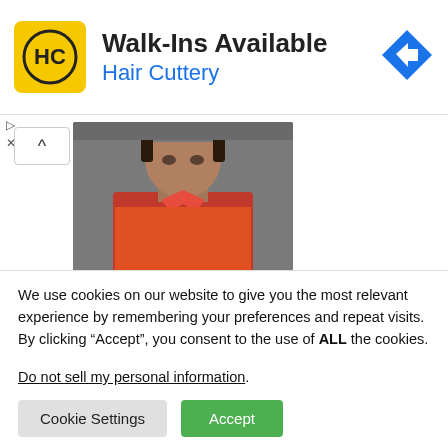[Figure (other): Hair Cuttery advertisement banner with yellow logo showing HC letters in circle, text 'Walk-Ins Available' and 'Hair Cuttery', and a blue diamond direction arrow icon on the right]
[Figure (photo): Photo of a man wearing a red/orange shirt, head and upper body visible, cropped at top]
Will Buhari pick another Buhari as successor? By Fredrick Nwabufo
June 2, 2022
In "Political Affairs"
We use cookies on our website to give you the most relevant experience by remembering your preferences and repeat visits. By clicking “Accept”, you consent to the use of ALL the cookies.
Do not sell my personal information.